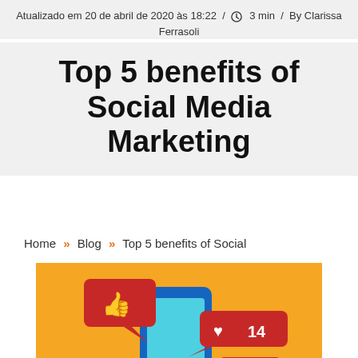Atualizado em 20 de abril de 2020 às 18:22 / ⏱ 3 min / By Clarissa Ferrasoli
Top 5 benefits of Social Media Marketing
Home » Blog » Top 5 benefits of Social
[Figure (illustration): Social media marketing illustration: a smartphone with chat bubbles showing a thumbs-up icon, a heart with number 14, and a hashtag symbol, on an orange/yellow background.]